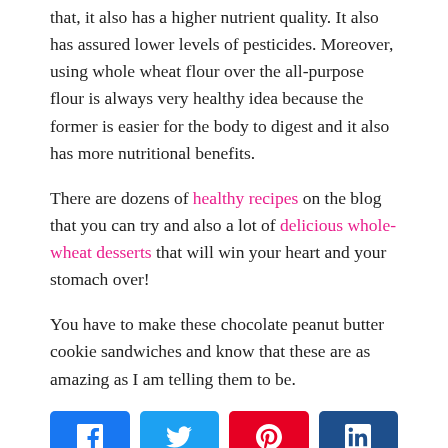that, it also has a higher nutrient quality. It also has assured lower levels of pesticides. Moreover, using whole wheat flour over the all-purpose flour is always very healthy idea because the former is easier for the body to digest and it also has more nutritional benefits.
There are dozens of healthy recipes on the blog that you can try and also a lot of delicious whole-wheat desserts that will win your heart and your stomach over!
You have to make these chocolate peanut butter cookie sandwiches and know that these are as amazing as I am telling them to be.
[Figure (infographic): Social share buttons: Facebook (blue), Twitter (light blue), Pinterest (red), LinkedIn (dark blue), each with their respective icons.]